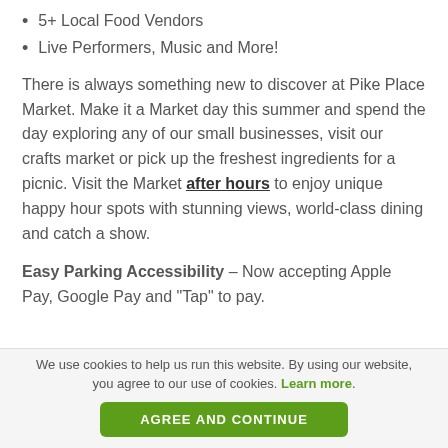5+ Local Food Vendors
Live Performers, Music and More!
There is always something new to discover at Pike Place Market. Make it a Market day this summer and spend the day exploring any of our small businesses, visit our crafts market or pick up the freshest ingredients for a picnic. Visit the Market after hours to enjoy unique happy hour spots with stunning views, world-class dining and catch a show.
Easy Parking Accessibility – Now accepting Apple Pay, Google Pay and “Tap” to pay.
We use cookies to help us run this website. By using our website, you agree to our use of cookies. Learn more.